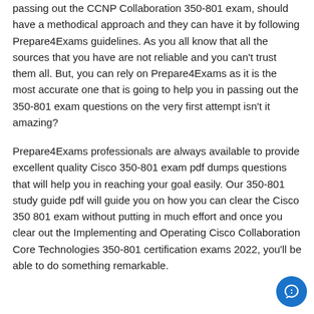passing out the CCNP Collaboration 350-801 exam, should have a methodical approach and they can have it by following Prepare4Exams guidelines. As you all know that all the sources that you have are not reliable and you can't trust them all. But, you can rely on Prepare4Exams as it is the most accurate one that is going to help you in passing out the 350-801 exam questions on the very first attempt isn't it amazing?
Prepare4Exams professionals are always available to provide excellent quality Cisco 350-801 exam pdf dumps questions that will help you in reaching your goal easily. Our 350-801 study guide pdf will guide you on how you can clear the Cisco 350 801 exam without putting in much effort and once you clear out the Implementing and Operating Cisco Collaboration Core Technologies 350-801 certification exams 2022, you'll be able to do something remarkable.